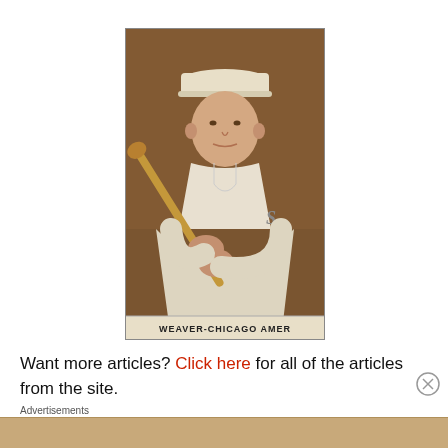[Figure (illustration): Vintage baseball card illustration showing a baseball player in a white Chicago Americans uniform holding a bat, wearing a white cap, on a brown background. Caption at bottom reads WEAVER-CHICAGO AMER.]
Want more articles? Click here for all of the articles from the site.
Advertisements